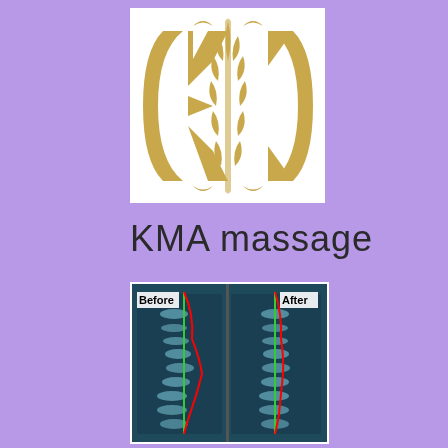[Figure (logo): KMA massage ornate gold monogram logo with decorative letters on white background]
KMA massage
[Figure (photo): Two side-by-side spinal X-ray images showing Before and After treatment. The Before image shows a curved spine with red and green lines indicating misalignment. The After image shows improved spinal alignment with red and green lines closer together.]